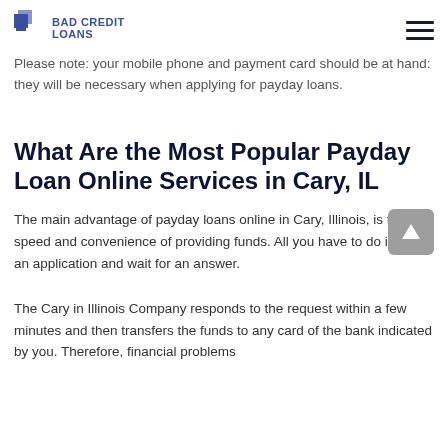BAD CREDIT LOANS
Please note: your mobile phone and payment card should be at hand: they will be necessary when applying for payday loans.
What Are the Most Popular Payday Loan Online Services in Cary, IL
The main advantage of payday loans online in Cary, Illinois, is the speed and convenience of providing funds. All you have to do is fill out an application and wait for an answer.
The Cary in Illinois Company responds to the request within a few minutes and then transfers the funds to any card of the bank indicated by you. Therefore, financial problems